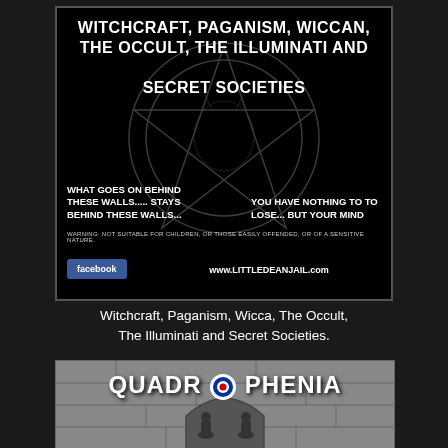[Figure (illustration): Black poster with pentagram symbol advertising an event about Witchcraft, Paganism, Wiccan, The Occult, The Illuminati and Secret Societies at Littledean Jail. Includes Facebook logo and website URL.]
Witchcraft, Paganism, Wicca, The Occult, The Illuminati and Secret Societies.
[Figure (illustration): Quadrophenia movie poster showing black and white photograph of two people standing in front of a stone archway, with the QUADROPHENIA title text and a mod target symbol replacing the O.]